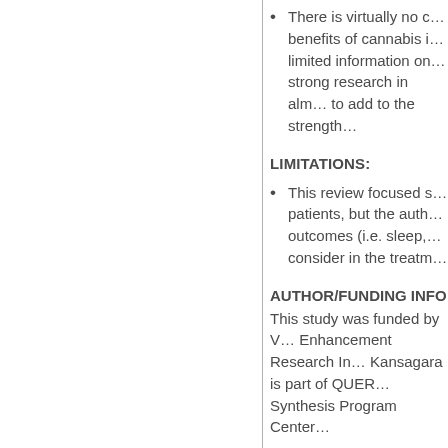There is virtually no c... benefits of cannabis i... limited information on... strong research in alm... to add to the strength...
LIMITATIONS:
This review focused s... patients, but the auth... outcomes (i.e. sleep,... consider in the treatm...
AUTHOR/FUNDING INFO
This study was funded by V... Enhancement Research In... Kansagara is part of QUER... Synthesis Program Center...